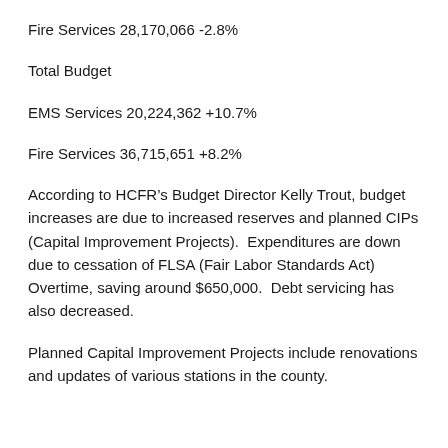Fire Services 28,170,066 -2.8%
Total Budget
EMS Services 20,224,362 +10.7%
Fire Services 36,715,651 +8.2%
According to HCFR’s Budget Director Kelly Trout, budget increases are due to increased reserves and planned CIPs (Capital Improvement Projects).  Expenditures are down due to cessation of FLSA (Fair Labor Standards Act) Overtime, saving around $650,000.  Debt servicing has also decreased.
Planned Capital Improvement Projects include renovations and updates of various stations in the county.